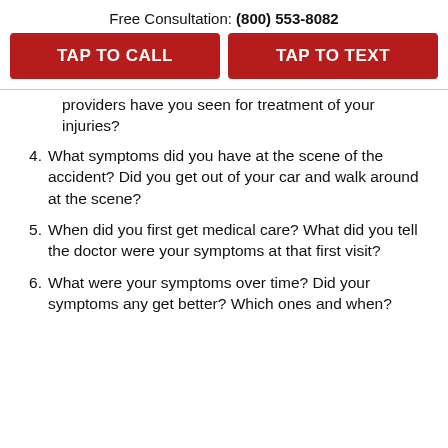Free Consultation: (800) 553-8082
TAP TO CALL
TAP TO TEXT
providers have you seen for treatment of your injuries?
4. What symptoms did you have at the scene of the accident? Did you get out of your car and walk around at the scene?
5. When did you first get medical care? What did you tell the doctor were your symptoms at that first visit?
6. What were your symptoms over time? Did your symptoms any get better? Which ones and when?